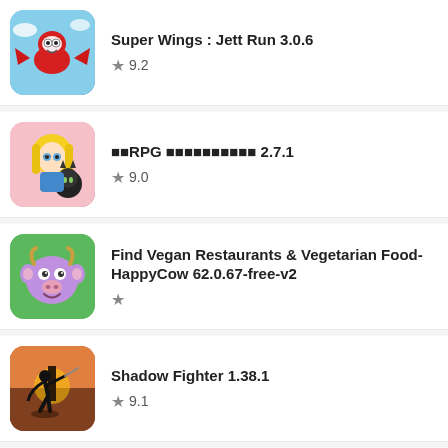Super Wings : Jett Run 3.0.6 ★ 9.2
■■RPG ■■■■■■■■■■ 2.7.1 ★ 9.0
Find Vegan Restaurants & Vegetarian Food-HappyCow 62.0.67-free-v2 ★
Shadow Fighter 1.38.1 ★ 9.1
My Little Princess: Magic Fairy - A Fairy Fantasy ★